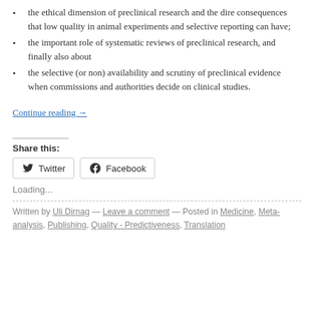the ethical dimension of preclinical research and the dire consequences that low quality in animal experiments and selective reporting can have;
the important role of systematic reviews of preclinical research, and finally also about
the selective (or non) availability and scrutiny of preclinical evidence when commissions and authorities decide on clinical studies.
Continue reading →
Share this:
Twitter   Facebook
Loading...
Written by Uli Dirnag — Leave a comment — Posted in Medicine, Meta-analysis, Publishing, Quality - Predictiveness, Translation